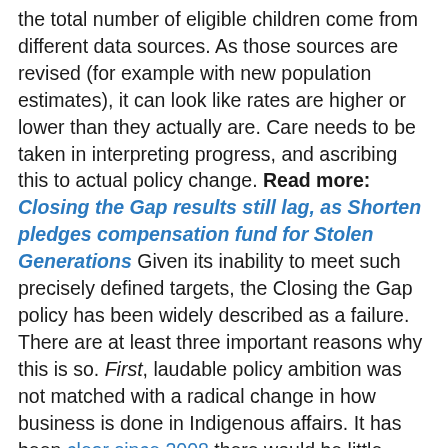the total number of eligible children come from different data sources. As those sources are revised (for example with new population estimates), it can look like rates are higher or lower than they actually are. Care needs to be taken in interpreting progress, and ascribing this to actual policy change. Read more: Closing the Gap results still lag, as Shorten pledges compensation fund for Stolen Generations Given its inability to meet such precisely defined targets, the Closing the Gap policy has been widely described as a failure. There are at least three important reasons why this is so. First, laudable policy ambition was not matched with a radical change in how business is done in Indigenous affairs. It has been clear since 2008 there would be little prospect of closing gaps in health and employment within a generation if business-as-usual policymaking continued. That same analysis showed closing the gap in educational attainment was more realistic if trends predating Closing